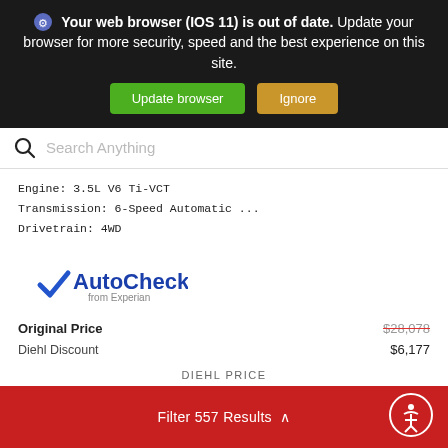Your web browser (IOS 11) is out of date. Update your browser for more security, speed and the best experience on this site. Update browser | Ignore
Search Anything
Engine: 3.5L V6 Ti-VCT
Transmission: 6-Speed Automatic ...
Drivetrain: 4WD
[Figure (logo): AutoCheck from Experian logo with blue checkmark]
Original Price $28,078
Diehl Discount $6,177
DIEHL PRICE $22,801
Filter 557 Results ^